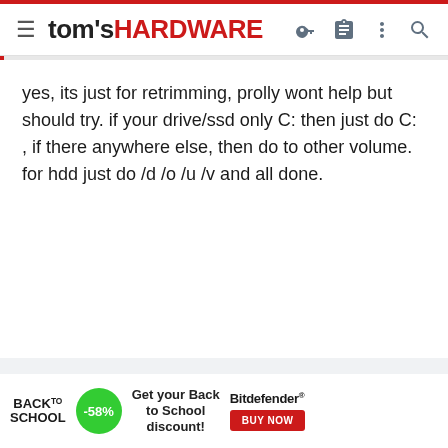tom's HARDWARE
yes, its just for retrimming, prolly wont help but should try. if your drive/ssd only C: then just do C: , if there anywhere else, then do to other volume. for hdd just do /d /o /u /v and all done.
[Figure (infographic): Advertisement banner: Back to School -58% discount from Bitdefender with Buy Now button]